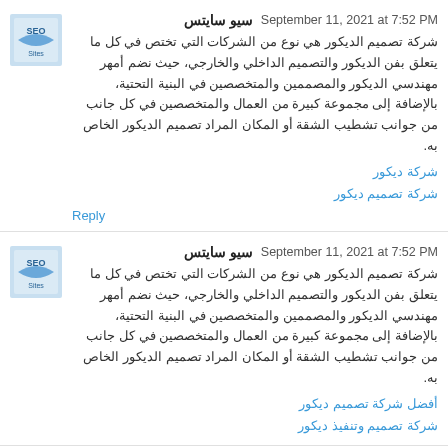سيو سايتس  September 11, 2021 at 7:52 PM
شركة تصميم الديكور هي نوع من الشركات التي تختص في كل ما يتعلق بفن الديكور والتصميم الداخلي والخارجي، حيث نضم أمهر مهندسي الديكور والمصممين والمتخصصين في البنية التحتية، بالإضافة إلى مجموعة كبيرة من العمال والمتخصصين في كل جانب من جوانب تشطيب الشقة أو المكان المراد تصميم الديكور الخاص به.
شركة ديكور
شركة تصميم ديكور
Reply
سيو سايتس  September 11, 2021 at 7:52 PM
شركة تصميم الديكور هي نوع من الشركات التي تختص في كل ما يتعلق بفن الديكور والتصميم الداخلي والخارجي، حيث نضم أمهر مهندسي الديكور والمصممين والمتخصصين في البنية التحتية، بالإضافة إلى مجموعة كبيرة من العمال والمتخصصين في كل جانب من جوانب تشطيب الشقة أو المكان المراد تصميم الديكور الخاص به.
أفضل شركة تصميم ديكور
شركة تصميم وتنفيذ ديكور